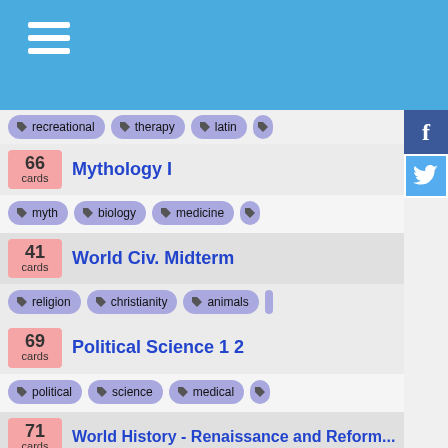Navigation menu header bar
recreational | therapy | latin
66 cards — Mythology I | tags: myth, biology, medicine
41 cards — World Civ. Midterm | tags: religion, christianity, animals
69 cards — Political Science 1 2 | tags: political, science, medical
71 cards — World History - Renaissance and Reform... | tags: renaissance, worldhistory, history
45 cards — Music Appreciation quiz #2 | tags: baroque, classical, music
67 cards — Mythology first set | tags: mythology, animals, places
48 cards — HST102-15 Midterm...